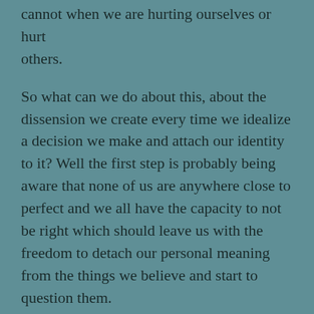cannot when we are hurting ourselves or hurt others.
So what can we do about this, about the dissension we create every time we idealize a decision we make and attach our identity to it? Well the first step is probably being aware that none of us are anywhere close to perfect and we all have the capacity to not be right which should leave us with the freedom to detach our personal meaning from the things we believe and start to question them.
I urge you to start in your own life and to look at the narratives you have about yourself. This is something I have done and have proven myself a complete liar in so many ways. It has been incredibly freeing and uplifting! This is the most light hearted example but it is an example none the less. For years I told anyone that would listen that I